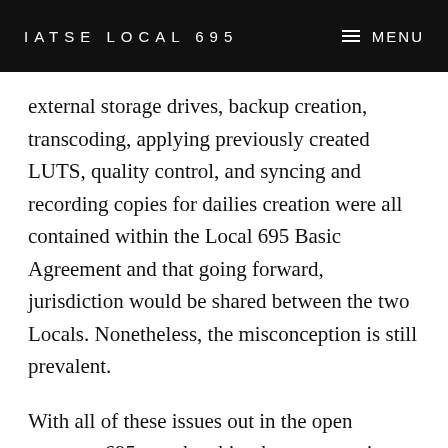IATSE LOCAL 695
external storage drives, backup creation, transcoding, applying previously created LUTS, quality control, and syncing and recording copies for dailies creation were all contained within the Local 695 Basic Agreement and that going forward, jurisdiction would be shared between the two Locals. Nonetheless, the misconception is still prevalent.
With all of these issues out in the open amongst 695 membership, the conversation turned to what